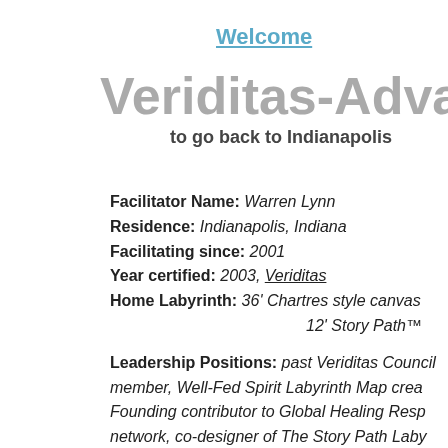Welcome
Veriditas-Advan
to go back to Indianapolis
Facilitator Name: Warren Lynn
Residence: Indianapolis, Indiana
Facilitating since: 2001
Year certified: 2003, Veriditas
Home Labyrinth: 36' Chartres style canvas
12' Story Path™
Leadership Positions: past Veriditas Council member, Well-Fed Spirit Labyrinth Map crea... Founding contributor to Global Healing Resp... network, co-designer of The Story Path Laby... Member of Labyrinth Coalition, Co-host of m... Midwest Labyrinth Gatherings.
Of Special Interest: Secular and spiritual ritu... labyrinth integration into Christian and other spiritual community contexts, labyrinths for multiple healing modalities, labyrinth creatio...